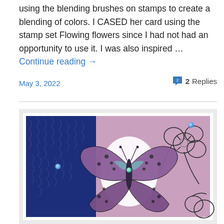using the blending brushes on stamps to create a blending of colors. I CASED her card using the stamp set Flowing flowers since I had not had an opportunity to use it. I was also inspired … Continue reading →
May 3, 2022
2 Replies
[Figure (photo): A handmade craft card featuring a large butterfly stamp (purple/black coloring) centered over a two-panel background: left panel is dark navy blue with a textured/embossed leaf pattern, right panel is mauve/dusty pink with outline flower stamps. Small teal sequins are scattered on both panels and on the butterfly.]